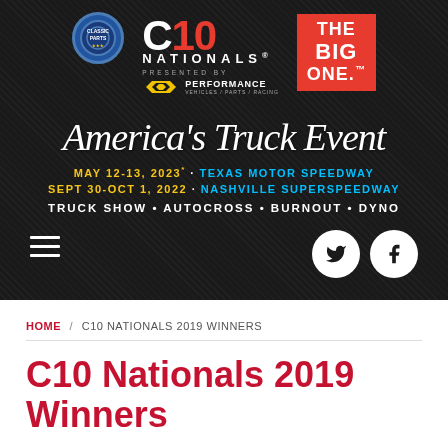[Figure (logo): C10 Nationals event banner with Classic Parts badge logo, C10 Nationals text, The Big One badge, 'America's Truck Event' script text, event dates MAY 12-13 2023 Texas Motor Speedway and SEPT 30-OCT 1 2022 Nashville Superspeedway, Truck Show • Autocross • Burnout • Dyno, hamburger menu, Twitter and Facebook social icons, on dark textured background]
HOME / C10 NATIONALS 2019 WINNERS
C10 Nationals 2019 Winners